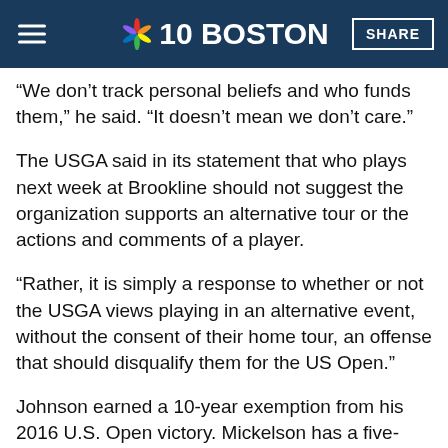NBC 10 BOSTON | SHARE
“We don’t track personal beliefs and who funds them,” he said. “It doesn’t mean we don’t care.”
The USGA said in its statement that who plays next week at Brookline should not suggest the organization supports an alternative tour or the actions and comments of a player.
“Rather, it is simply a response to whether or not the USGA views playing in an alternative event, without the consent of their home tour, an offense that should disqualify them for the US Open.”
Johnson earned a 10-year exemption from his 2016 U.S. Open victory. Mickelson has a five-year exemption from winning the PGA Championship last year. Others, such as Na